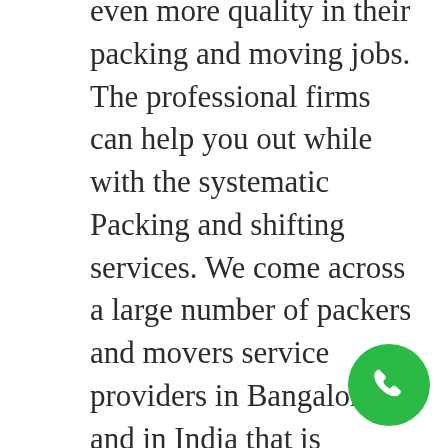even more quality in their packing and moving jobs. The professional firms can help you out while with the systematic Packing and shifting services. We come across a large number of packers and movers service providers in Bangalore and in India that is providing you with the services of full packing and also removing services with express moving solutions. Our Company is well known in the market and above all top packers and movers for shifting and relocation services, Warehousing And Logistics Services, commercial relocation, and office shifting services in Bangalore all over India. We are the best because we provide hassle-free shifting of your goods safe and secure. Gati Packers Movers Bangalore Best Network-Why?? Free Moving Estimate
[Figure (other): Green circular phone/call button icon in the bottom right corner]